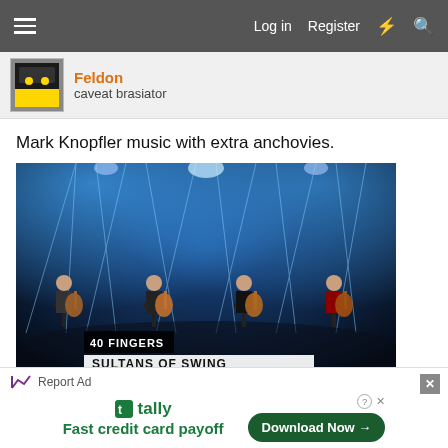Log in  Register
Feldon
caveat brasiator
Mark Knopfler music with extra anchovies.
[Figure (photo): Concert photo of four guitarists on stage with dramatic blue stage lighting. Label '40 FINGERS' and 'SULTANS OF SWING' shown at bottom.]
Report Ad
tally Fast credit card payoff  Download Now →